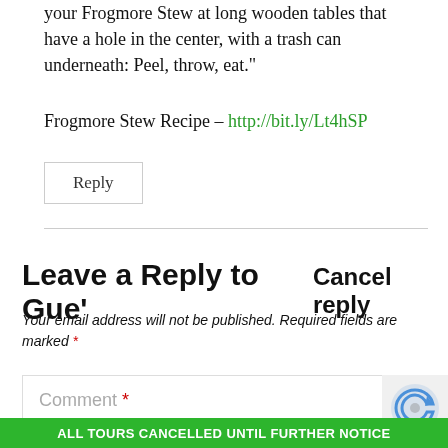your Frogmore Stew at long wooden tables that have a hole in the center, with a trash can underneath: Peel, throw, eat."
Frogmore Stew Recipe – http://bit.ly/Lt4hSP
Reply
Leave a Reply to Gue'   Cancel reply
Your email address will not be published. Required fields are marked *
Comment *
ALL TOURS CANCELLED UNTIL FURTHER NOTICE